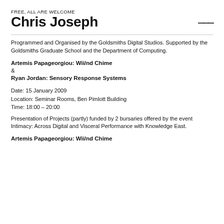FREE, ALL ARE WELCOME
Chris Joseph
Programmed and Organised by the Goldsmiths Digital Studios. Supported by the Goldsmiths Graduate School and the Department of Computing.
Artemis Papageorgiou: Wii/nd Chime
&
Ryan Jordan: Sensory Response Systems
Date: 15 January 2009
Location: Seminar Rooms, Ben Pimlott Building
Time: 18:00 – 20:00
Presentation of Projects (partly) funded by 2 bursaries offered by the event Intimacy: Across Digital and Visceral Performance with Knowledge East.
Artemis Papageorgiou: Wii/nd Chime